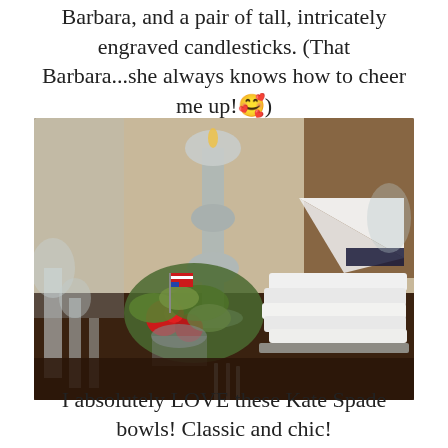Barbara, and a pair of tall, intricately engraved candlesticks. (That Barbara...she always knows how to cheer me up!🥰)
[Figure (photo): A close-up photograph of an elegantly set dining table with crystal glassware, silver candlesticks, a floral centerpiece with red roses and green flowers, small American flags, white plates stacked with a white folded napkin and dark ribbon, and silverware in the foreground on a dark wood table.]
I absolutely LOVE these Kate Spade bowls! Classic and chic!